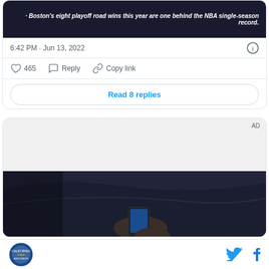[Figure (screenshot): Tweet embed card showing an image with text about Boston's eight playoff road wins being one behind the NBA single-season record, dated 6:42 PM Jun 13 2022, with 465 likes, Reply and Copy link actions, and a Read 8 replies button]
6:42 PM · Jun 13, 2022
465  Reply  Copy link
Read 8 replies
[Figure (photo): Advertisement section with AD label, gray placeholder area, and dark photo of a person holding a phone inside a vehicle]
California State Association logo, Twitter icon, Facebook icon